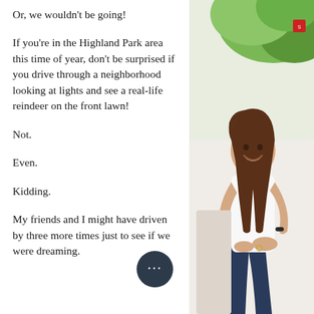Or, we wouldn't be going!
If you're in the Highland Park area this time of year, don't be surprised if you drive through a neighborhood looking at lights and see a real-life reindeer on the front lawn!
Not.
Even.
Kidding.
My friends and I might have driven by three more times just to see if we were dreaming.
[Figure (photo): A smiling young woman with long brown hair, wearing a white shirt and dark jeans, sitting casually. Green foliage visible in background.]